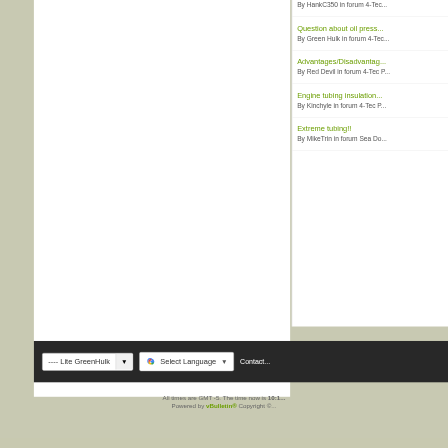Question about oil press...
By Green Hulk in forum 4-Tec...
Advantages/Disadvantag...
By Red Devil in forum 4-Tec P...
Engine tubing insulation...
By Kinchyle in forum 4-Tec P...
Extreme tubing!!
By MikeTrin in forum Sea Do...
---- Lite GreenHulk
Select Language
Contact...
All times are GMT -5. The time now is 10:1...
Powered by vBulletin® Copyright ©...